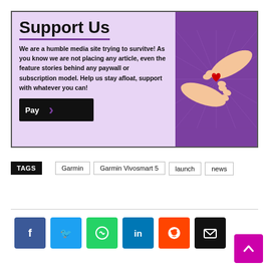[Figure (illustration): Support Us banner with lavender background, bold title 'Support Us' with purple underline, bold text about media site, a black Pay button with purple arrow, and an illustration of two hands exchanging a red heart on a purple background]
TAGS  Garmin  Garmin Vivosmart 5  launch  news
[Figure (infographic): Social sharing buttons: Facebook (blue), Twitter (light blue), WhatsApp (green), LinkedIn (blue), Reddit (orange-red), Email (black), and a magenta back-to-top button]